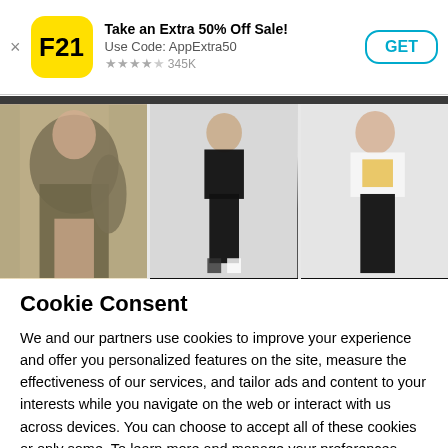[Figure (screenshot): App store banner for Forever 21 (F21) app with yellow logo, title 'Take an Extra 50% Off Sale! Use Code: AppExtra50', star rating 345K, and GET button]
[Figure (photo): Three fashion photos showing models wearing Forever 21 clothing — olive jacket, black leggings, and black high-waist leggings with white graphic tee]
Cookie Consent
We and our partners use cookies to improve your experience and offer you personalized features on the site, measure the effectiveness of our services, and tailor ads and content to your interests while you navigate on the web or interact with us across devices. You can choose to accept all of these cookies or only some. To learn more and manage your preferences, click the "Manage Settings" link.
OPT-OUT
OK